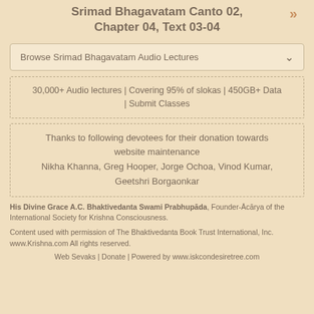Srimad Bhagavatam Canto 02, Chapter 04, Text 03-04
Browse Srimad Bhagavatam Audio Lectures
30,000+ Audio lectures | Covering 95% of slokas | 450GB+ Data | Submit Classes
Thanks to following devotees for their donation towards website maintenance
Nikha Khanna, Greg Hooper, Jorge Ochoa, Vinod Kumar, Geetshri Borgaonkar
His Divine Grace A.C. Bhaktivedanta Swami Prabhupāda, Founder-Ācārya of the International Society for Krishna Consciousness.
Content used with permission of The Bhaktivedanta Book Trust International, Inc. www.Krishna.com All rights reserved.
Web Sevaks | Donate | Powered by www.iskcondesiretree.com